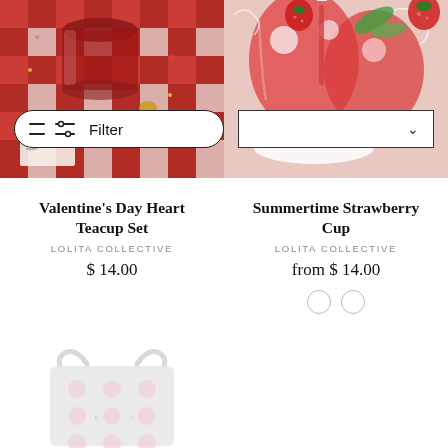[Figure (photo): Two product photos side by side. Left: Red and white checkered tablecloth with a glass of dark red tea or wine, a gold spoon, confetti hearts, and a small card. Right: Summertime strawberry drinks with red beverages, strawberries, green leaves, and straws.]
Filter
Valentine's Day Heart Teacup Set
LOLITA COLLECTIVE
$ 14.00
Summertime Strawberry Cup
LOLITA COLLECTIVE
from $ 14.00
[Figure (photo): Partially visible tote bag with light gray/white fabric and pink polka dot pattern, shown from the top with handles visible.]